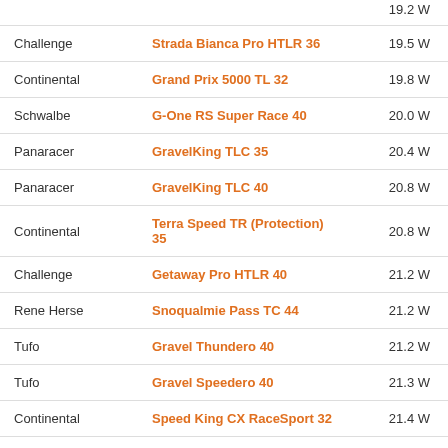| Brand | Model | Watts |
| --- | --- | --- |
|  |  | 19.2 W |
| Challenge | Strada Bianca Pro HTLR 36 | 19.5 W |
| Continental | Grand Prix 5000 TL 32 | 19.8 W |
| Schwalbe | G-One RS Super Race 40 | 20.0 W |
| Panaracer | GravelKing TLC 35 | 20.4 W |
| Panaracer | GravelKing TLC 40 | 20.8 W |
| Continental | Terra Speed TR (Protection) 35 | 20.8 W |
| Challenge | Getaway Pro HTLR 40 | 21.2 W |
| Rene Herse | Snoqualmie Pass TC 44 | 21.2 W |
| Tufo | Gravel Thundero 40 | 21.2 W |
| Tufo | Gravel Speedero 40 | 21.3 W |
| Continental | Speed King CX RaceSport 32 | 21.4 W |
| Continental | Terra Speed TR (Protection) 40 | 21.6 W |